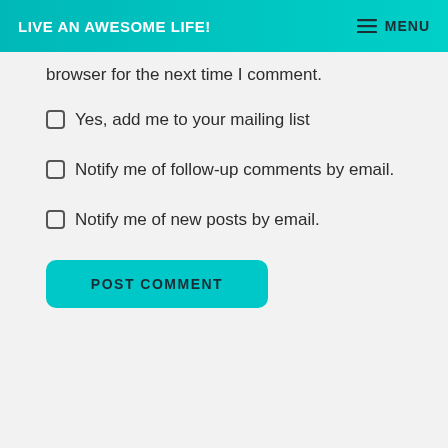LIVE AN AWESOME LIFE!  ☰ MENU
browser for the next time I comment.
Yes, add me to your mailing list
Notify me of follow-up comments by email.
Notify me of new posts by email.
POST COMMENT